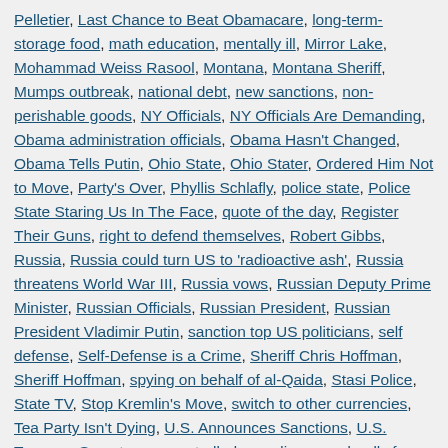Pelletier, Last Chance to Beat Obamacare, long-term-storage food, math education, mentally ill, Mirror Lake, Mohammad Weiss Rasool, Montana, Montana Sheriff, Mumps outbreak, national debt, new sanctions, non-perishable goods, NY Officials, NY Officials Are Demanding, Obama administration officials, Obama Hasn't Changed, Obama Tells Putin, Ohio State, Ohio Stater, Ordered Him Not to Move, Party's Over, Phyllis Schlafly, police state, Police State Staring Us In The Face, quote of the day, Register Their Guns, right to defend themselves, Robert Gibbs, Russia, Russia could turn US to 'radioactive ash', Russia threatens World War III, Russia vows, Russian Deputy Prime Minister, Russian Officials, Russian President, Russian President Vladimir Putin, sanction top US politicians, self defense, Self-Defense is a Crime, Sheriff Chris Hoffman, Sheriff Hoffman, spying on behalf of al-Qaida, Stasi Police, State TV, Stop Kremlin's Move, switch to other currencies, Tea Party Isn't Dying, U.S. Announces Sanctions, U.S. Treasury Secretary, uncontrolled spending, use deadly force, Vladimir Putin, Vladimir Putin's goals, wants drones regulated, We did it before and 'can do it again', welfare, What You Can Do